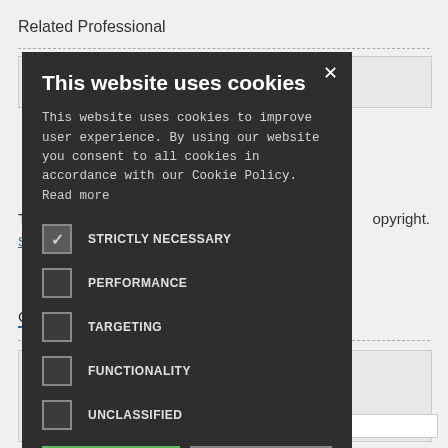Related Professional
[Figure (screenshot): Cookie consent modal dialog with dark background showing cookie preferences. Contains title 'This website uses cookies', explanatory text, checkboxes for STRICTLY NECESSARY (checked), PERFORMANCE, TARGETING, FUNCTIONALITY, UNCLASSIFIED, an ACCEPT ALL green button, DECLINE ALL outlined button, and a SHOW DETAILS link with gear icon.]
T
opyright.
S
C
Email